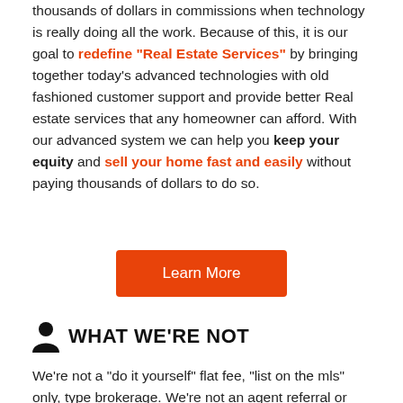thousands of dollars in commissions when technology is really doing all the work. Because of this, it is our goal to redefine "Real Estate Services" by bringing together today's advanced technologies with old fashioned customer support and provide better Real estate services that any homeowner can afford. With our advanced system we can help you keep your equity and sell your home fast and easily without paying thousands of dollars to do so.
[Figure (other): Orange 'Learn More' button]
WHAT WE'RE NOT
We're not a "do it yourself" flat fee, "list on the mls" only, type brokerage. We're not an agent referral or lead generation company such as "forsalebyowner.com" "zillow" etc. We're not a "peer to peer" company which drastically limits your exposure and buyer pool. And when it comes to support, we're